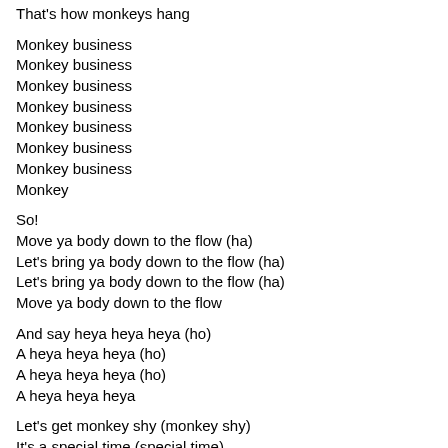That's how monkeys hang
Monkey business
Monkey business
Monkey business
Monkey business
Monkey business
Monkey business
Monkey business
Monkey
So!
Move ya body down to the flow (ha)
Let's bring ya body down to the flow (ha)
Let's bring ya body down to the flow (ha)
Move ya body down to the flow
And say heya heya heya (ho)
A heya heya heya (ho)
A heya heya heya (ho)
A heya heya heya
Let's get monkey shy (monkey shy)
It's a special time (special time)
Let's pour some wine